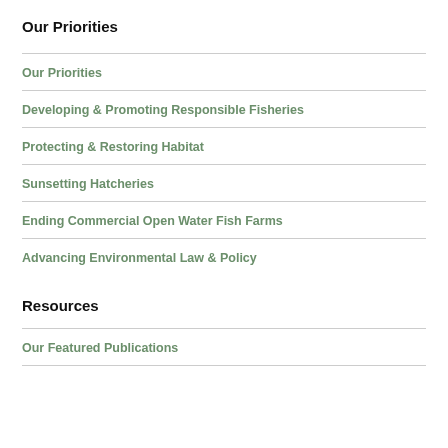Our Priorities
Our Priorities
Developing & Promoting Responsible Fisheries
Protecting & Restoring Habitat
Sunsetting Hatcheries
Ending Commercial Open Water Fish Farms
Advancing Environmental Law & Policy
Resources
Our Featured Publications